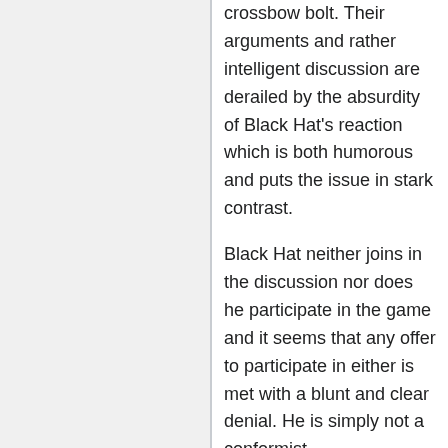crossbow bolt. Their arguments and rather intelligent discussion are derailed by the absurdity of Black Hat's reaction which is both humorous and puts the issue in stark contrast.
Black Hat neither joins in the discussion nor does he participate in the game and it seems that any offer to participate in either is met with a blunt and clear denial. He is simply not a conformist.
In the title text Black Hat continues to provide an example of his tendency to play by his own rules. A clay pigeon is a clay disc that is thrown into the air and serves as a target on a skeet shooting range. Participants are expected to shoot